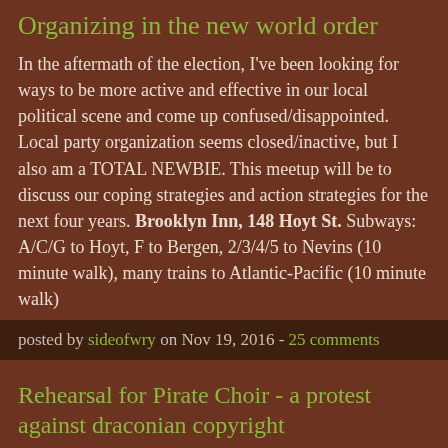Organizing in the new world order
In the aftermath of the election, I've been looking for ways to be more active and effective in our local political scene and come up confused/disappointed. Local party organization seems closed/inactive, but I also am a TOTAL NEWBIE. This meetup will be to discuss our coping strategies and action strategies for the next four years. Brooklyn Inn, 148 Hoyt St. Subways: A/C/G to Hoyt, F to Bergen, 2/3/4/5 to Nevins (10 minute walk), many trains to Atlantic-Pacific (10 minute walk)
posted by sideofwry on Nov 19, 2016 - 25 comments
Rehearsal for Pirate Choir - a protest against draconian copyright
The New York Pirate Party is organizing a protest where we all gather outside Lincoln Center, dress as pirates, and sing